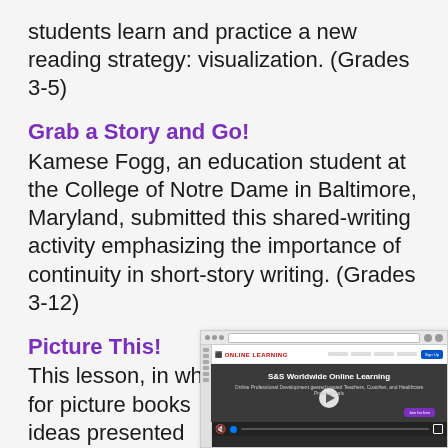students learn and practice a new reading strategy: visualization. (Grades 3-5)
Grab a Story and Go!
Kamese Fogg, an education student at the College of Notre Dame in Baltimore, Maryland, submitted this shared-writing activity emphasizing the importance of continuity in short-story writing. (Grades 3-12)
Picture This!
This lesson, in wh... for picture books... ideas presented... Slaughter of Bel... Smyrna, Georgia... Alcorn Central El... Mississippi. (Gra...
[Figure (screenshot): Screenshot of S&S Worldwide Online Learning website with a video player showing a play button and video controls]